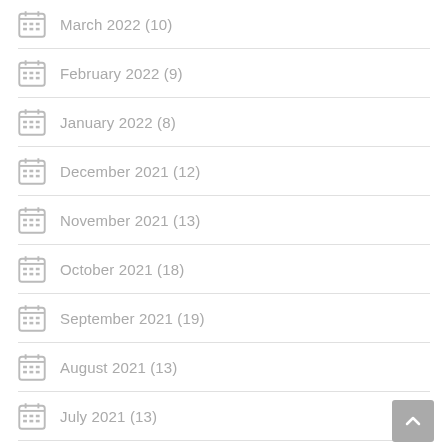March 2022 (10)
February 2022 (9)
January 2022 (8)
December 2021 (12)
November 2021 (13)
October 2021 (18)
September 2021 (19)
August 2021 (13)
July 2021 (13)
June 2021 (8)
May 2021 (7)
April 2021 (5)